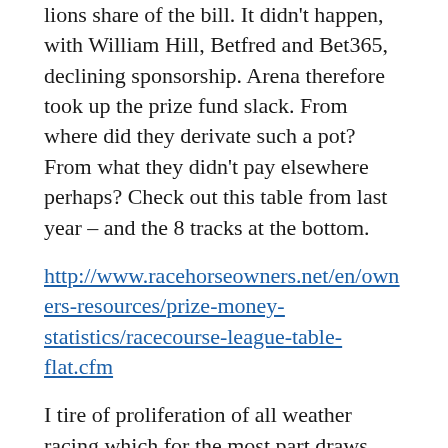lions share of the bill. It didn't happen, with William Hill, Betfred and Bet365, declining sponsorship. Arena therefore took up the prize fund slack. From where did they derivate such a pot? From what they didn't pay elsewhere perhaps? Check out this table from last year – and the 8 tracks at the bottom.
http://www.racehorseowners.net/en/owners-resources/prize-money-statistics/racecourse-league-table-flat.cfm
I tire of proliferation of all weather racing which for the most part draws crowds so low – typically a few hundred paying customers, and plays to empty betting shops. Precisely what the shop staff are saying, in contradiction to